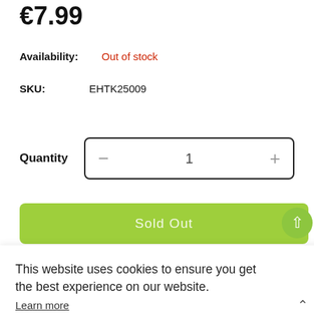€7.99
Availability:  Out of stock
SKU:  EHTK25009
Quantity  −  1  +
Sold Out
This website uses cookies to ensure you get the best experience on our website. Learn more
Dismiss
Allow Cookies